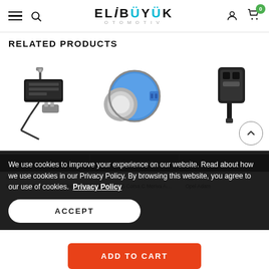ELIBÜYÜK OTOMOTIV
RELATED PRODUCTS
[Figure (photo): Three automotive product images: a door check strap mechanism (left), a blue cylindrical parking sensor (center), and a partial view of a black sensor/part (right)]
We use cookies to improve your experience on our website. Read about how we use cookies in our Privacy Policy. By browsing this website, you agree to our use of cookies. Privacy Policy
ACCEPT
Kilatech  AXI  AXI
Opel Zafira B Front Door Check  Opel Astra G Corsa C Meriva A  Opel Adam
ADD TO CART